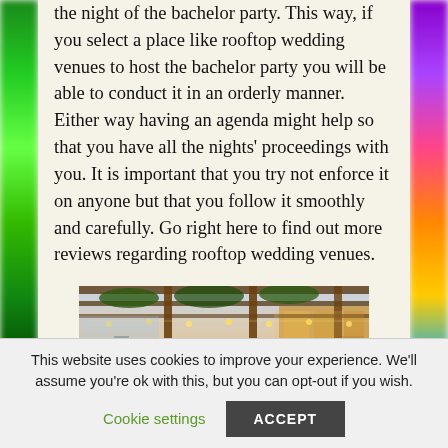the night of the bachelor party. This way, if you select a place like rooftop wedding venues to host the bachelor party you will be able to conduct it in an orderly manner. Either way having an agenda might help so that you have all the nights' proceedings with you. It is important that you try not enforce it on anyone but that you follow it smoothly and carefully. Go right here to find out more reviews regarding rooftop wedding venues.
[Figure (photo): A rooftop wedding venue at dusk with string lights hanging from an overhead pergola structure covered in vines, warm golden lighting, and a city skyline visible in the background.]
This website uses cookies to improve your experience. We'll assume you're ok with this, but you can opt-out if you wish.
Cookie settings   ACCEPT